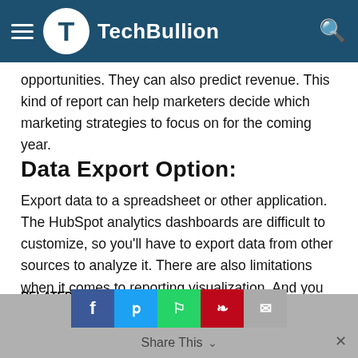TechBullion
opportunities. They can also predict revenue. This kind of report can help marketers decide which marketing strategies to focus on for the coming year.
Data Export Option:
Export data to a spreadsheet or other application. The HubSpot analytics dashboards are difficult to customize, so you'll have to export data from other sources to analyze it. There are also limitations when it comes to reporting visualization. And you can't combine data from different HubSpot portals.
RELATED ITEMS: LEAD SCORING